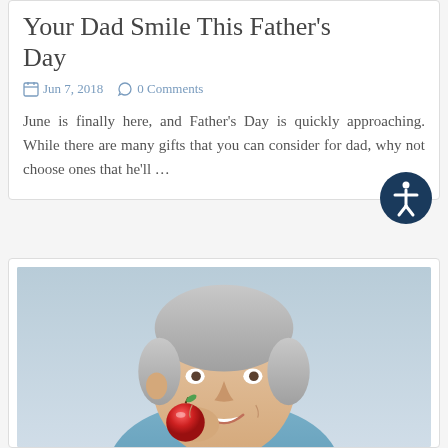Your Dad Smile This Father's Day
Jun 7, 2018   0 Comments
June is finally here, and Father's Day is quickly approaching. While there are many gifts that you can consider for dad, why not choose ones that he'll ...
[Figure (photo): Middle-aged man with grey hair smiling and biting into a red apple, photographed against a light blue/grey background]